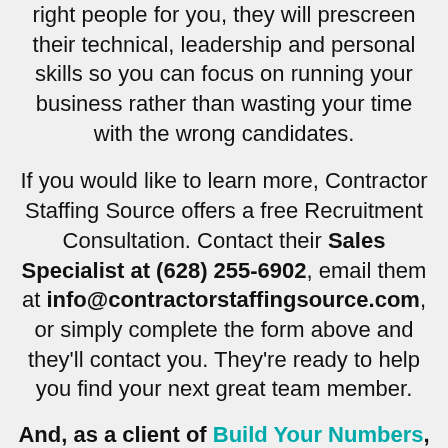right people for you, they will prescreen their technical, leadership and personal skills so you can focus on running your business rather than wasting your time with the wrong candidates.
If you would like to learn more, Contractor Staffing Source offers a free Recruitment Consultation. Contact their Sales Specialist at (628) 255-6902, email them at info@contractorstaffingsource.com, or simply complete the form above and they'll contact you. They're ready to help you find your next great team member.
And, as a client of Build Your Numbers, you'll receive a $250 discount off your first month. To get your free assessment, or for more...